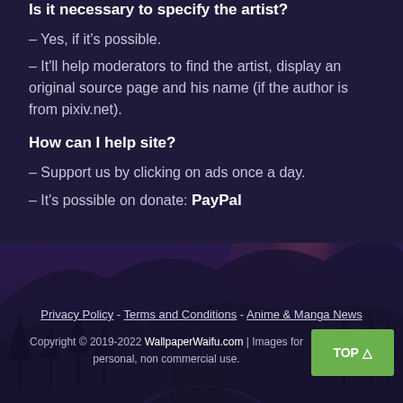Is it necessary to specify the artist?
– Yes, if it's possible.
– It'll help moderators to find the artist, display an original source page and his name (if the author is from pixiv.net).
How can I help site?
– Support us by clicking on ads once a day.
– It's possible on donate: PayPal
[Figure (illustration): Fantasy landscape background with mountains, trees, and a large moon/planet in a dark purple sky]
Privacy Policy - Terms and Conditions - Anime & Manga News
Copyright © 2019-2022 WallpaperWaifu.com | Images for personal, non commercial use.